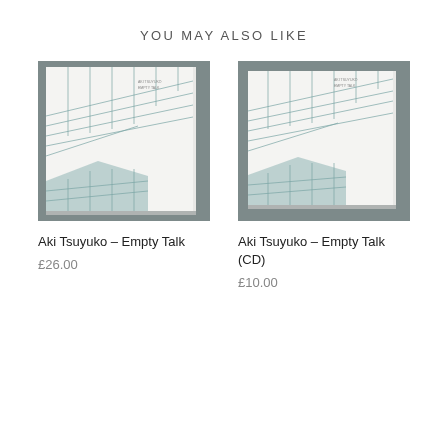YOU MAY ALSO LIKE
[Figure (photo): Album cover photo of Aki Tsuyuko – Empty Talk (vinyl record square format), showing grid perspective line drawing on white cover, displayed on grey surface]
[Figure (photo): Album cover photo of Aki Tsuyuko – Empty Talk (CD format), showing grid perspective line drawing on white cover, displayed on grey surface]
Aki Tsuyuko – Empty Talk
£26.00
Aki Tsuyuko – Empty Talk (CD)
£10.00